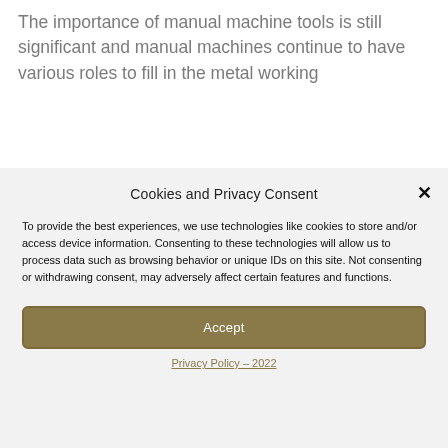The importance of manual machine tools is still significant and manual machines continue to have various roles to fill in the metal working
Cookies and Privacy Consent
To provide the best experiences, we use technologies like cookies to store and/or access device information. Consenting to these technologies will allow us to process data such as browsing behavior or unique IDs on this site. Not consenting or withdrawing consent, may adversely affect certain features and functions.
Accept
Privacy Policy – 2022